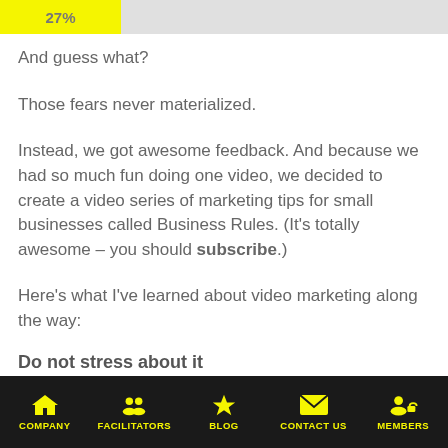[Figure (infographic): Progress bar showing 27% completion with yellow fill and gray background]
And guess what?
Those fears never materialized.
Instead, we got awesome feedback. And because we had so much fun doing one video, we decided to create a video series of marketing tips for small businesses called Business Rules. (It's totally awesome – you should subscribe.)
Here's what I've learned about video marketing along the way:
Do not stress about it
Video marketing is not a life-or-death thing. Your business will not shutter tomorrow if your first video doesn't become an instant YouTube sensation. You will not be
COMPANY | FACILITATORS | BLOG | CONTACT US | MEMBERS